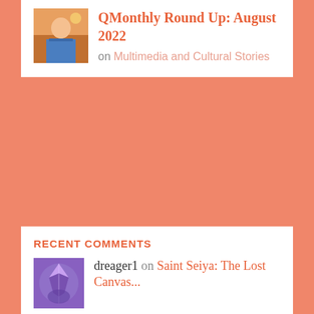[Figure (photo): Profile photo of a person in a blue shirt against a sunset/outdoor background]
QMonthly Round Up: August 2022
on Multimedia and Cultural Stories
RECENT COMMENTS
[Figure (photo): Avatar showing a butterfly or anime character in purple/blue tones]
dreager1 on Saint Seiya: The Lost Canvas...
[Figure (illustration): Yellow/orange icon with decorative pattern]
Scott on Sunday at